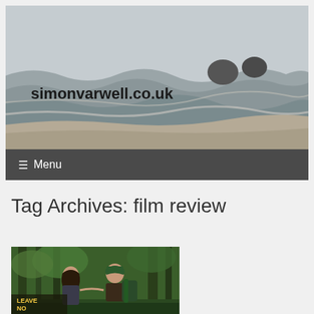[Figure (photo): Coastal beach scene with rough ocean waves, sandy shore, and two dark rock formations in the misty background under overcast sky. Text overlay reads simonvarwell.co.uk]
≡ Menu
Tag Archives: film review
[Figure (photo): Movie poster/still for 'Leave No Trace' showing a young woman with long dark hair and a man wearing a green cap and backpack in a forest setting]